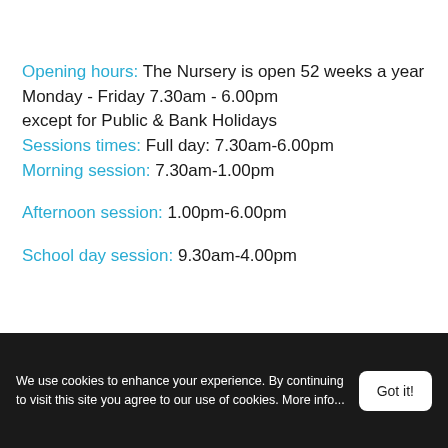Opening hours: The Nursery is open 52 weeks a year
Monday - Friday 7.30am - 6.00pm
except for Public & Bank Holidays
Sessions times: Full day: 7.30am-6.00pm
Morning session: 7.30am-1.00pm
Afternoon session: 1.00pm-6.00pm
School day session: 9.30am-4.00pm
We use cookies to enhance your experience. By continuing to visit this site you agree to our use of cookies. More info...